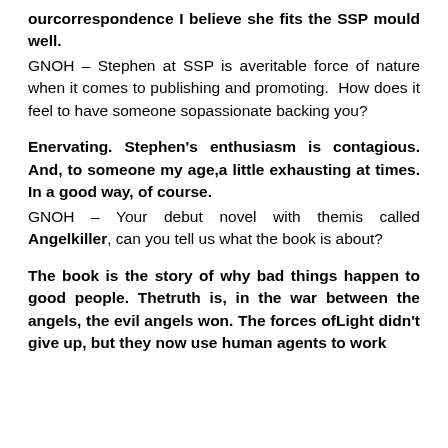ourcorrespondence I believe she fits the SSP mould well.
GNOH – Stephen at SSP is averitable force of nature when it comes to publishing and promoting. How does it feel to have someone sopassionate backing you?
Enervating. Stephen's enthusiasm is contagious. And, to someone my age,a little exhausting at times. In a good way, of course.
GNOH – Your debut novel with themis called Angelkiller, can you tell us what the book is about?
The book is the story of why bad things happen to good people. Thetruth is, in the war between the angels, the evil angels won. The forces ofLight didn't give up, but they now use human agents to work